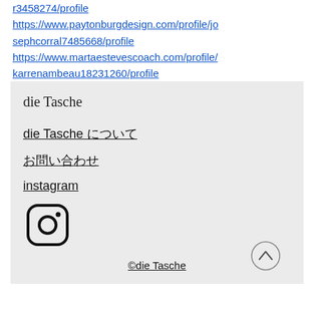r3458274/profile https://www.paytonburgdesign.com/profile/josephcorral7485668/profile https://www.martaestevescoach.com/profile/karrenambeau18231260/profile
die Tasche
die Tasche について
お問い合わせ
instagram
[Figure (logo): Instagram camera icon logo in black outline]
©die Tasche